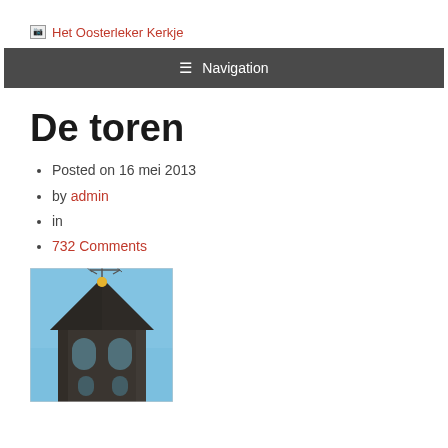Het Oosterleker Kerkje
≡ Navigation
De toren
Posted on 16 mei 2013
by admin
in
732 Comments
[Figure (photo): Photograph of a church tower with a weather vane on top, against a blue sky background. The tower has dark stone/brick construction with arched bell openings.]